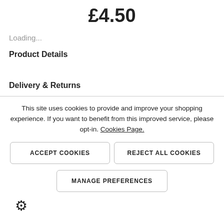£4.50
Loading...
Product Details
Delivery & Returns
This site uses cookies to provide and improve your shopping experience. If you want to benefit from this improved service, please opt-in. Cookies Page.
ACCEPT COOKIES
REJECT ALL COOKIES
MANAGE PREFERENCES